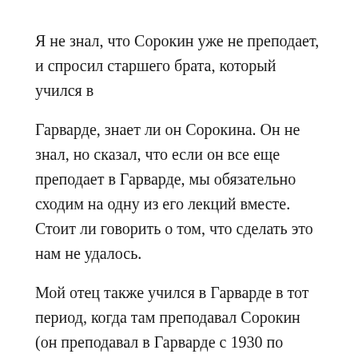Я не знал, что Сорокин уже не преподает, и спросил старшего брата, который учился в
Гарварде, знает ли он Сорокина. Он не знал, но сказал, что если он все еще преподает в Гарварде, мы обязательно сходим на одну из его лекций вместе. Стоит ли говорить о том, что сделать это нам не удалось.
Мой отец также учился в Гарварде в тот период, когда там преподавал Сорокин (он преподавал в Гарварде с 1930 по 1955). Судя по записям отца, он посещал 2‑семестровый курс общественных отношений 1а и 1b, в который входил